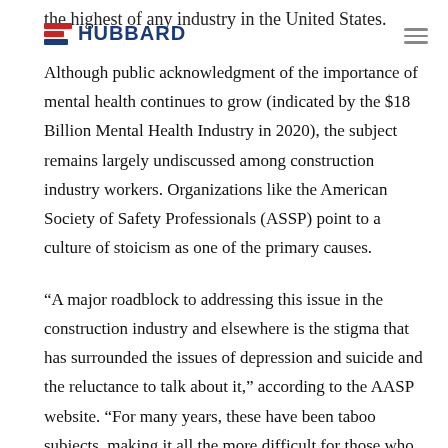the highest of any industry in the United States. HUBBARD
Although public acknowledgment of the importance of mental health continues to grow (indicated by the $18 Billion Mental Health Industry in 2020), the subject remains largely undiscussed among construction industry workers. Organizations like the American Society of Safety Professionals (ASSP) point to a culture of stoicism as one of the primary causes.
“A major roadblock to addressing this issue in the construction industry and elsewhere is the stigma that has surrounded the issues of depression and suicide and the reluctance to talk about it,” according to the AASP website. “For many years, these have been taboo subjects, making it all the more difficult for those who may be contemplating suicide to get the help they need.”